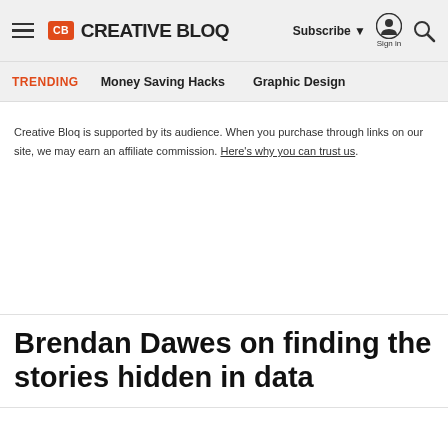CB CREATIVE BLOQ | Subscribe | Sign in | Search
TRENDING | Money Saving Hacks | Graphic Design
Creative Bloq is supported by its audience. When you purchase through links on our site, we may earn an affiliate commission. Here's why you can trust us.
Brendan Dawes on finding the stories hidden in data